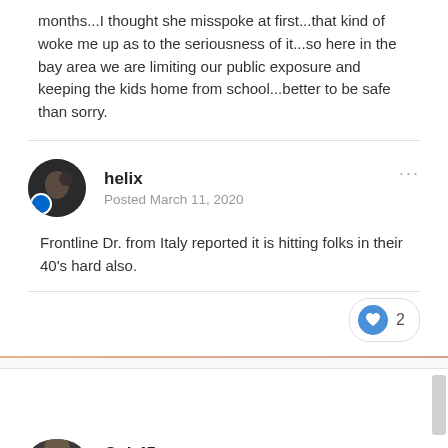months...I thought she misspoke at first...that kind of woke me up as to the seriousness of it...so here in the bay area we are limiting our public exposure and keeping the kids home from school...better to be safe than sorry.
helix
Posted March 11, 2020
Frontline Dr. from Italy reported it is hitting folks in their 40's hard also.
Colt45
Posted March 11, 2020